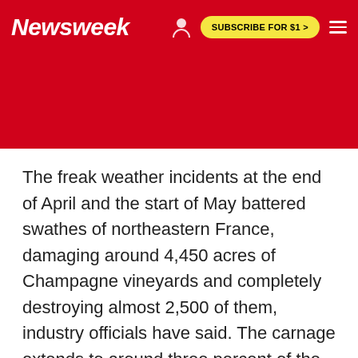Newsweek | SUBSCRIBE FOR $1 >
The freak weather incidents at the end of April and the start of May battered swathes of northeastern France, damaging around 4,450 acres of Champagne vineyards and completely destroying almost 2,500 of them, industry officials have said. The carnage extends to around three percent of the total champagne